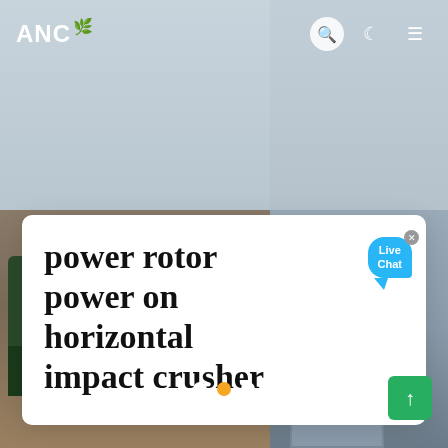[Figure (screenshot): Website screenshot showing ANC logo navbar with search, dark mode, and menu icons on a split background with two photos (people with machinery on left, industrial building on right). Main content card shows article title. Live chat bubble and carousel dots visible.]
ANC
power rotor power on horizontal impact crusher